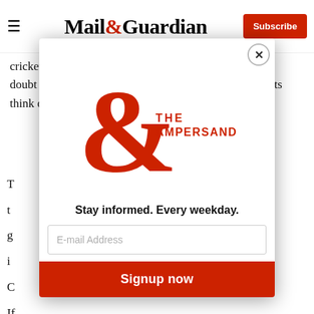Mail&Guardian — Subscribe
cricket games is neither here nor there. Mugabe is in no doubt about what the British and Australian governments think of him.
[Figure (screenshot): Modal popup for The Ampersand newsletter subscription from Mail & Guardian, containing logo, tagline 'Stay informed. Every weekday.', email input field, and Signup now button with close button]
T
t
g
i
C
If
c
w
U
s